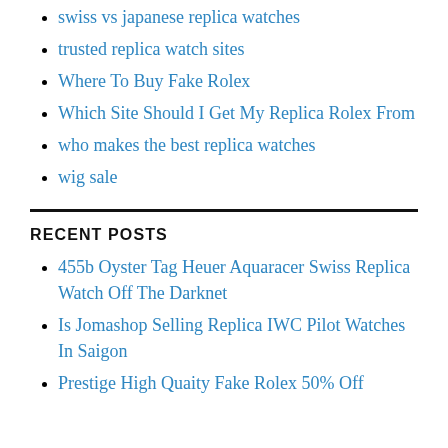swiss vs japanese replica watches
trusted replica watch sites
Where To Buy Fake Rolex
Which Site Should I Get My Replica Rolex From
who makes the best replica watches
wig sale
RECENT POSTS
455b Oyster Tag Heuer Aquaracer Swiss Replica Watch Off The Darknet
Is Jomashop Selling Replica IWC Pilot Watches In Saigon
Prestige High Quaity Fake Rolex 50% Off